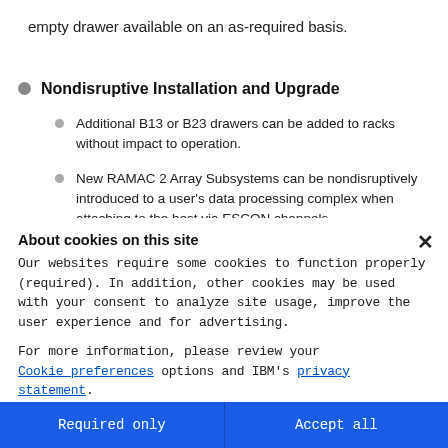empty drawer available on an as-required basis.
Nondisruptive Installation and Upgrade
Additional B13 or B23 drawers can be added to racks without impact to operation.
New RAMAC 2 Array Subsystems can be nondisruptively introduced to a user's data processing complex when attaching to the host via ESCON channels.
About cookies on this site
Our websites require some cookies to function properly (required). In addition, other cookies may be used with your consent to analyze site usage, improve the user experience and for advertising.
For more information, please review your Cookie preferences options and IBM's privacy statement.